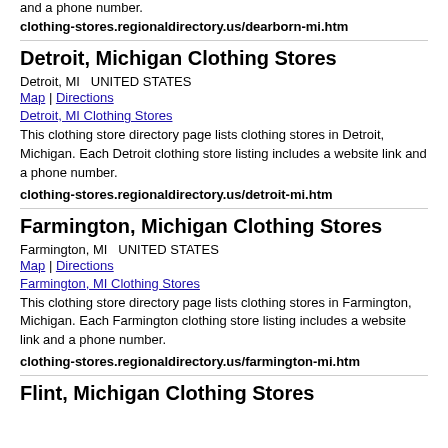and a phone number.
clothing-stores.regionaldirectory.us/dearborn-mi.htm
Detroit, Michigan Clothing Stores
Detroit, MI  UNITED STATES
Map | Directions
Detroit, MI Clothing Stores
This clothing store directory page lists clothing stores in Detroit, Michigan. Each Detroit clothing store listing includes a website link and a phone number.
clothing-stores.regionaldirectory.us/detroit-mi.htm
Farmington, Michigan Clothing Stores
Farmington, MI  UNITED STATES
Map | Directions
Farmington, MI Clothing Stores
This clothing store directory page lists clothing stores in Farmington, Michigan. Each Farmington clothing store listing includes a website link and a phone number.
clothing-stores.regionaldirectory.us/farmington-mi.htm
Flint, Michigan Clothing Stores